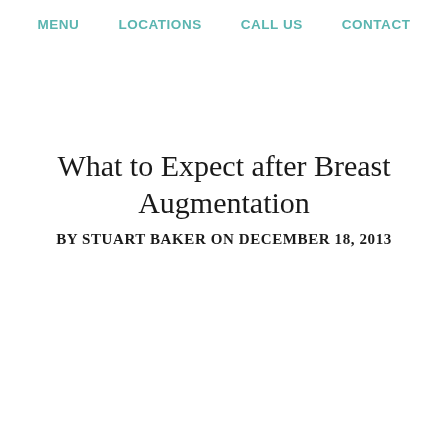MENU  LOCATIONS  CALL US  CONTACT
What to Expect after Breast Augmentation
BY STUART BAKER ON DECEMBER 18, 2013